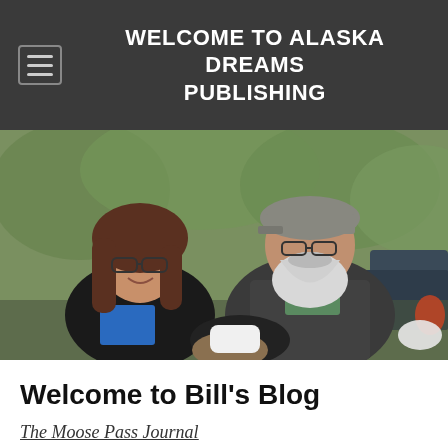WELCOME TO ALASKA DREAMS PUBLISHING
[Figure (photo): Two people sitting outdoors. On the left, a woman with long brown hair and glasses wearing a black jacket over a blue graphic t-shirt. On the right, a man with a white beard wearing a gray plaid flannel shirt over a green t-shirt and a gray cap with glasses. They are seated in front of green foliage and a blue vehicle.]
Welcome to Bill's Blog
The Moose Pass Journal